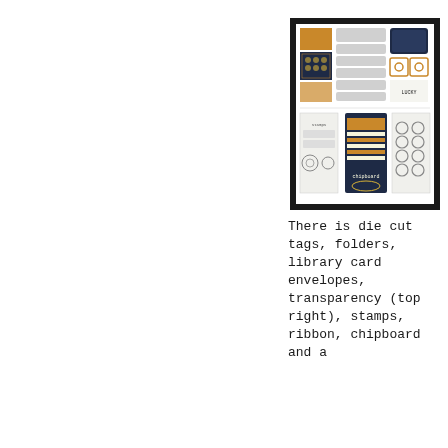[Figure (photo): A photo of a craft kit/scrapbooking set showing die cut tags, folders, library card envelopes, transparency sheets, stamps, ribbon, and chipboard components arranged on a white background with a black border frame.]
There is die cut tags, folders, library card envelopes, transparency (top right), stamps, ribbon, chipboard and a